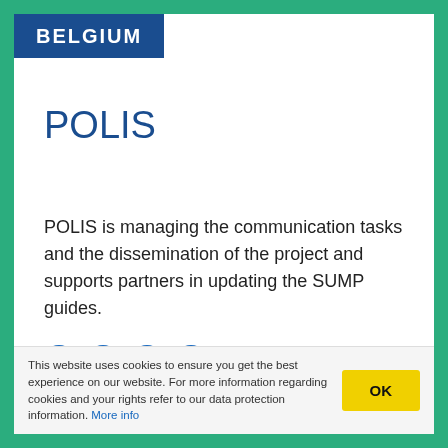BELGIUM
POLIS
POLIS is managing the communication tasks and the dissemination of the project and supports partners in updating the SUMP guides.
Read more...
This website uses cookies to ensure you get the best experience on our website. For more information regarding cookies and your rights refer to our data protection information. More info